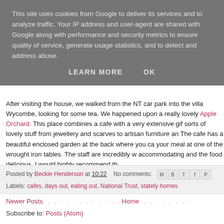This site uses cookies from Google to deliver its services and to analyze traffic. Your IP address and user-agent are shared with Google along with performance and security metrics to ensure quality of service, generate usage statistics, and to detect and address abuse.
LEARN MORE   OK
After visiting the house, we walked from the NT car park into the villa Wycombe, looking for some tea. We happened upon a really lovely Apple Orchard. This place combines a cafe with a very extensive gif sorts of lovely stuff from jewellery and scarves to artisan furniture an The cafe has a beautiful enclosed garden at the back where you ca your meal at one of the wrought iron tables. The staff are incredibly w accommodating and the food delicious. I would highly recommend th
Posted by Beckie Henderson at 10:22   No comments:
Labels: cafes, days out, eating out, National Trust, stately homes
Newer Posts
Home
Subscribe to: Posts (Atom)